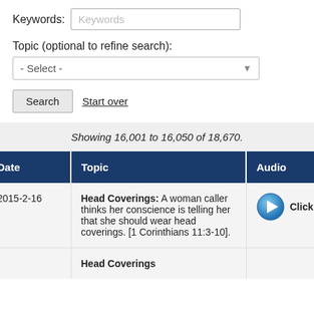Keywords: Keywords
Topic (optional to refine search):
- Select -
Search  Start over
Showing 16,001 to 16,050 of 18,670.
| Date | Topic | Audio |
| --- | --- | --- |
| 2015-2-16 | Head Coverings: A woman caller thinks her conscience is telling her that she should wear head coverings. [1 Corinthians 11:3-10]. | Click Here to L |
|  | Head Coverings |  |